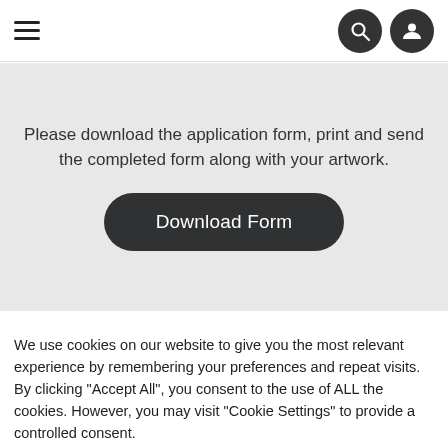Navigation bar with hamburger menu and search/account icons
Please download the application form, print and send the completed form along with your artwork.
Download Form
We use cookies on our website to give you the most relevant experience by remembering your preferences and repeat visits. By clicking "Accept All", you consent to the use of ALL the cookies. However, you may visit "Cookie Settings" to provide a controlled consent.
Cookie Settings
Accept All